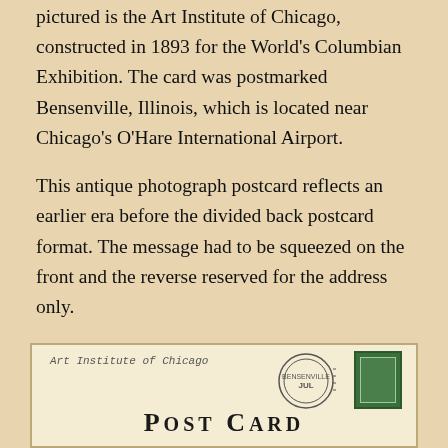pictured is the Art Institute of Chicago, constructed in 1893 for the World's Columbian Exhibition. The card was postmarked Bensenville, Illinois, which is located near Chicago's O'Hare International Airport.
This antique photograph postcard reflects an earlier era before the divided back postcard format. The message had to be squeezed on the front and the reverse reserved for the address only.
The place and time where Marie wrote and sent this card seems as distant from our present as our nearest celestial neighbors are from Earth itself. The Chicago of today would be unrecognizable to a 1910 resident, save for monumental landmarks such as this one.
[Figure (photo): Antique postcard back showing handwriting 'Art Institute of Chicago', a postmark circle with 'JUL', a green stamp, and large bold text reading 'POST CARD' at the bottom.]